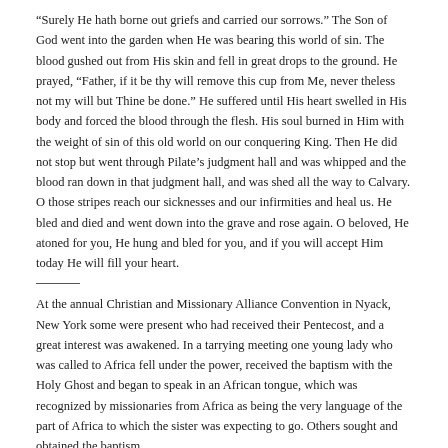“Surely He hath borne out griefs and carried our sorrows.” The Son of God went into the garden when He was bearing this world of sin. The blood gushed out from His skin and fell in great drops to the ground. He prayed, “Father, if it be thy will remove this cup from Me, never theless not my will but Thine be done.” He suffered until His heart swelled in His body and forced the blood through the flesh. His soul burned in Him with the weight of sin of this old world on our conquering King. Then He did not stop but went through Pilate’s judgment hall and was whipped and the blood ran down in that judgment hall, and was shed all the way to Calvary. O those stripes reach our sicknesses and our infirmities and heal us. He bled and died and went down into the grave and rose again. O beloved, He atoned for you, He hung and bled for you, and if you will accept Him today He will fill your heart.
At the annual Christian and Missionary Alliance Convention in Nyack, New York some were present who had received their Pentecost, and a great interest was awakened. In a tarrying meeting one young lady who was called to Africa fell under the power, received the baptism with the Holy Ghost and began to speak in an African tongue, which was recognized by missionaries from Africa as being the very language of the part of Africa to which the sister was expecting to go. Others sought and obtained the baptism.
A minister who had been opposing this work went to one of the Pentecostal meetings and got